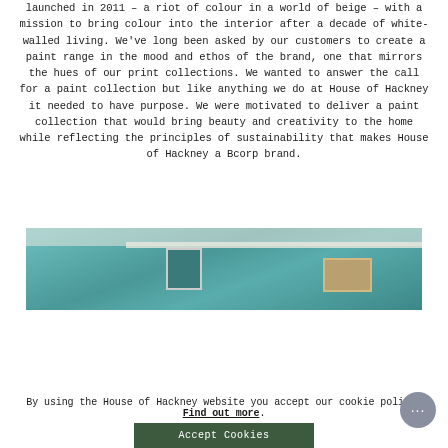launched in 2011 – a riot of colour in a world of beige – with a mission to bring colour into the interior after a decade of white-walled living. We've long been asked by our customers to create a paint range in the mood and ethos of the brand, one that mirrors the hues of our print collections. We wanted to answer the call for a paint collection but like anything we do at House of Hackney it needed to have purpose. We were motivated to deliver a paint collection that would bring beauty and creativity to the home while reflecting the principles of sustainability that makes House of Hackney a Bcorp brand.
[Figure (photo): Interior room photo showing teal/blue-green painted walls with white ceiling cornicing, a framed picture on the left wall, and another artwork visible on the right side]
By using the House of Hackney website you accept our cookie policy. Find out more.
Accept Cookies